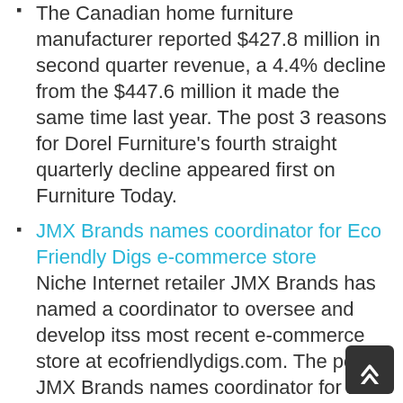The Canadian home furniture manufacturer reported $427.8 million in second quarter revenue, a 4.4% decline from the $447.6 million it made the same time last year. The post 3 reasons for Dorel Furniture's fourth straight quarterly decline appeared first on Furniture Today.
JMX Brands names coordinator for Eco Friendly Digs e-commerce store
Niche Internet retailer JMX Brands has named a coordinator to oversee and develop itss most recent e-commerce store at ecofriendlydigs.com. The post JMX Brands names coordinator for Eco Friendly Digs e-commerce store appeared first on Furniture Today.
Wayfair cans 5% of global workforce